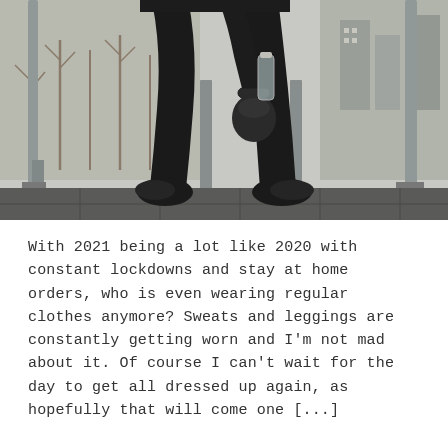[Figure (photo): A person dressed in all black (black hoodie, black leggings, black sneakers) standing on a balcony or outdoor platform with metal railings, holding a kettlebell. Bare winter trees and an urban scene visible through the glass behind them.]
With 2021 being a lot like 2020 with constant lockdowns and stay at home orders, who is even wearing regular clothes anymore? Sweats and leggings are constantly getting worn and I'm not mad about it. Of course I can't wait for the day to get all dressed up again, as hopefully that will come one [...]